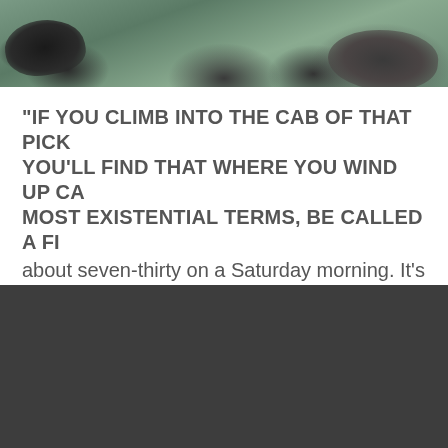[Figure (photo): Photograph of sea lions or seals resting on rocks near water, viewed from above. Dark-colored animals on rocky wet surface with green algae.]
"IF YOU CLIMB INTO THE CAB OF THAT PICK... YOU'LL FIND THAT WHERE YOU WIND UP CA... MOST EXISTENTIAL TERMS, BE CALLED A FI... about seven-thirty on a Saturday morning. It's mi... chilly Colorado air has...
1
2
»